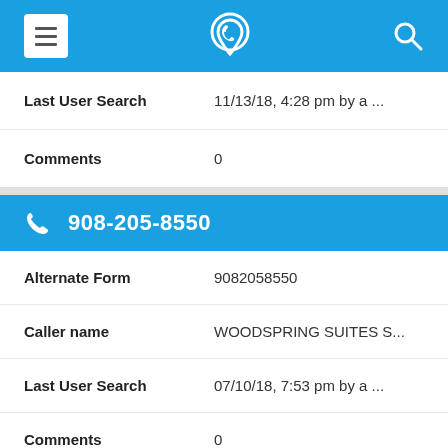App navigation bar with menu, phone/location icon, and search icon
Last User Search: 11/13/18, 4:28 pm by a ...
Comments: 0
908-205-8550
Alternate Form: 9082058550
Caller name: WOODSPRING SUITES S...
Last User Search: 07/10/18, 7:53 pm by a ...
Comments: 0